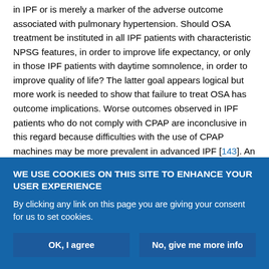in IPF or is merely a marker of the adverse outcome associated with pulmonary hypertension. Should OSA treatment be instituted in all IPF patients with characteristic NPSG features, in order to improve life expectancy, or only in those IPF patients with daytime somnolence, in order to improve quality of life? The latter goal appears logical but more work is needed to show that failure to treat OSA has outcome implications. Worse outcomes observed in IPF patients who do not comply with CPAP are inconclusive in this regard because difficulties with the use of CPAP machines may be more prevalent in advanced IPF [143]. An increase in mortality in IPF patients with OSA might, in theory, be linked to the promotion of
WE USE COOKIES ON THIS SITE TO ENHANCE YOUR USER EXPERIENCE
By clicking any link on this page you are giving your consent for us to set cookies.